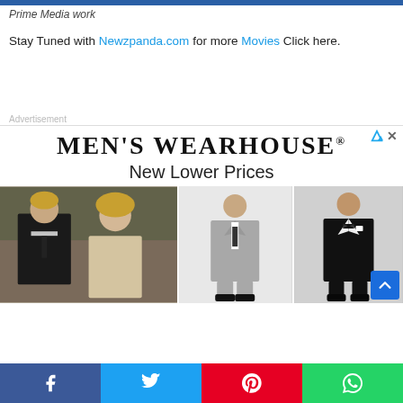Prime Media work
Stay Tuned with Newzpanda.com for more Movies Click here.
Advertisement
[Figure (illustration): Men's Wearhouse advertisement banner with brand logo, 'New Lower Prices' tagline, and three photos of men in formal suits/tuxedos. A blue scroll-to-top button is visible in the lower right.]
Facebook share | Twitter share | Pinterest share | WhatsApp share